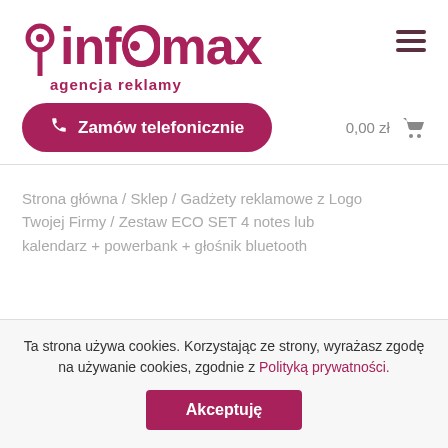[Figure (logo): Infomax agencja reklamy logo — magenta/dark pink wordmark with a swirl replacing the 'o' in infomax, and tagline 'agencja reklamy' below]
[Figure (other): Hamburger menu icon — three horizontal dark pink lines]
[Figure (other): Pink rounded button with phone icon and text 'Zamów telefonicznie']
0,00 zł 🛒
Strona główna / Sklep / Gadżety reklamowe z Logo Twojej Firmy / Zestaw ECO SET 4 notes lub kalendarz + powerbank + głośnik bluetooth
Ta strona używa cookies. Korzystając ze strony, wyrażasz zgodę na używanie cookies, zgodnie z Polityką prywatności.
[Figure (other): Dark pink 'Akceptuję' accept button]